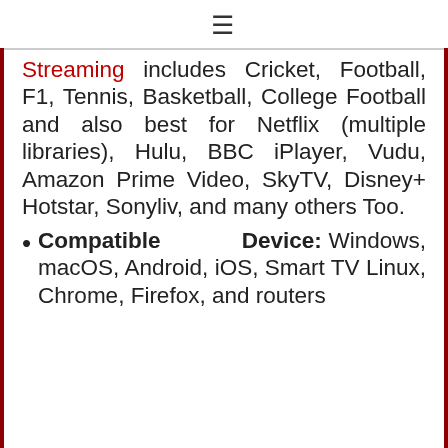≡
Streaming includes Cricket, Football, F1, Tennis, Basketball, College Football and also best for Netflix (multiple libraries), Hulu, BBC iPlayer, Vudu, Amazon Prime Video, SkyTV, Disney+ Hotstar, Sonyliv, and many others Too.
Compatible Device: Windows, macOS, Android, iOS, Smart TV Linux, Chrome, Firefox, and routers